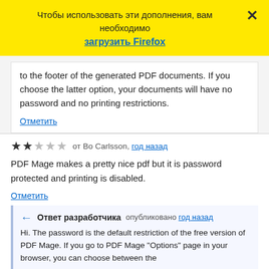[Figure (screenshot): Yellow browser notification banner with Russian text 'Чтобы использовать эти дополнения, вам необходимо загрузить Firefox' and a close (X) button]
to the footer of the generated PDF documents. If you choose the latter option, your documents will have no password and no printing restrictions.
Отметить
★★☆☆☆ от Bo Carlsson, год назад
PDF Mage makes a pretty nice pdf but it is password protected and printing is disabled.
Отметить
Ответ разработчика опубликовано год назад
Hi. The password is the default restriction of the free version of PDF Mage. If you go to PDF Mage "Options" page in your browser, you can choose between the